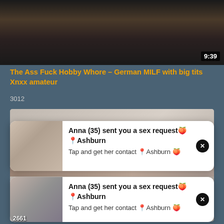[Figure (screenshot): Video thumbnail showing dark background, duration badge 9:39]
The Ass Fuck Hobby Whore – German MILF with big tits Xnxx amateur
3012
[Figure (screenshot): Second video thumbnail area]
[Figure (screenshot): Notification popup overlay card top: Anna (35) sent you a sex request Ashburn. Tap and get her contact Ashburn]
[Figure (screenshot): Notification popup overlay card bottom: Anna (35) sent you a sex request Ashburn. Tap and get her contact Ashburn]
2661